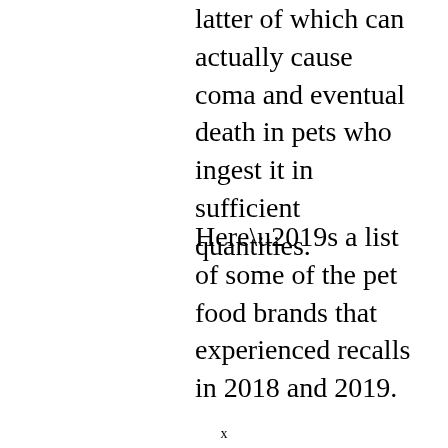latter of which can actually cause coma and eventual death in pets who ingest it in sufficient quantities.
Here’s a list of some of the pet food brands that experienced recalls in 2018 and 2019.
x